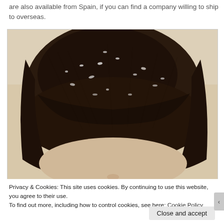are also available from Spain, if you can find a company willing to ship to overseas.
[Figure (photo): Close-up photo of the top of a person's head showing dark brown hair with visible white dandruff flakes/scales throughout the hair, and one eye partially visible at the bottom of the frame. The image illustrates a scalp condition (dandruff/seborrheic dermatitis).]
Privacy & Cookies: This site uses cookies. By continuing to use this website, you agree to their use.
To find out more, including how to control cookies, see here: Cookie Policy
Close and accept